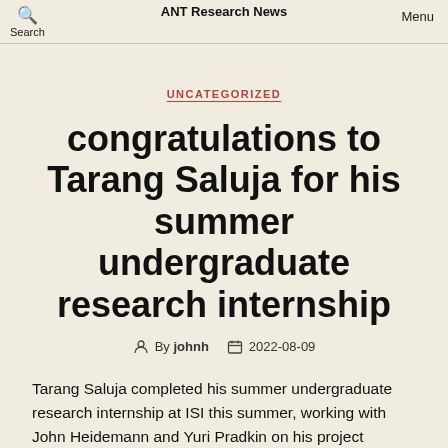Search   ANT Research News   Menu
UNCATEGORIZED
congratulations to Tarang Saluja for his summer undergraduate research internship
By johnh   2022-08-09
Tarang Saluja completed his summer undergraduate research internship at ISI this summer, working with John Heidemann and Yuri Pradkin on his project